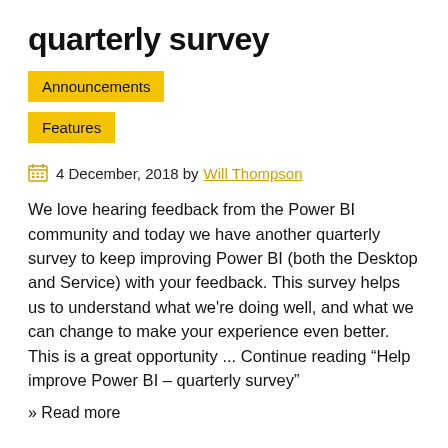quarterly survey
Announcements
Features
4 December, 2018 by Will Thompson
We love hearing feedback from the Power BI community and today we have another quarterly survey to keep improving Power BI (both the Desktop and Service) with your feedback. This survey helps us to understand what we're doing well, and what we can change to make your experience even better. This is a great opportunity ... Continue reading “Help improve Power BI – quarterly survey”
» Read more